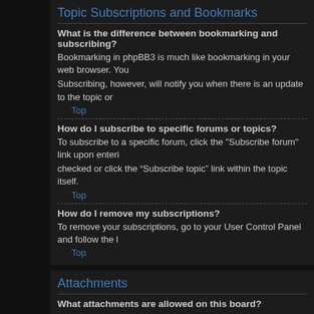Topic Subscriptions and Bookmarks
What is the difference between bookmarking and subscribing?
Bookmarking in phpBB3 is much like bookmarking in your web browser. You Subscribing, however, will notify you when there is an update to the topic or
Top
How do I subscribe to specific forums or topics?
To subscribe to a specific forum, click the "Subscribe forum" link upon entering checked or click the “Subscribe topic” link within the topic itself.
Top
How do I remove my subscriptions?
To remove your subscriptions, go to your User Control Panel and follow the l
Top
Attachments
What attachments are allowed on this board?
Each board administrator can allow or disallow certain attachment types. If y assistance.
Top
How do I find all my attachments?